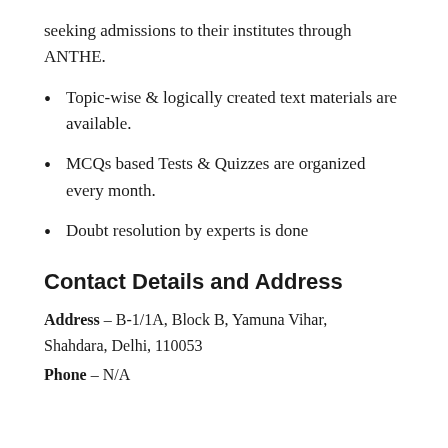seeking admissions to their institutes through ANTHE.
Topic-wise & logically created text materials are available.
MCQs based Tests & Quizzes are organized every month.
Doubt resolution by experts is done
Contact Details and Address
Address – B-1/1A, Block B, Yamuna Vihar, Shahdara, Delhi, 110053
Phone – N/A